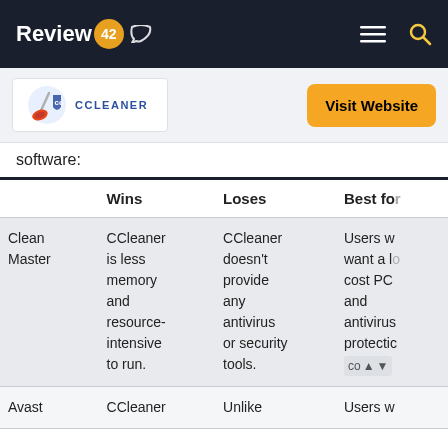Review42 — navigation bar with menu and search icons
[Figure (logo): CCleaner logo with broom icon and text CCLEANER]
software:
|  | Wins | Loses | Best for |
| --- | --- | --- | --- |
| Clean Master | CCleaner is less memory and resource-intensive to run. | CCleaner doesn't provide any antivirus or security tools. | Users w... want a lo... cost PC and antivirus protectio... co... |
| Avast | CCleaner | Unlike | Users w |